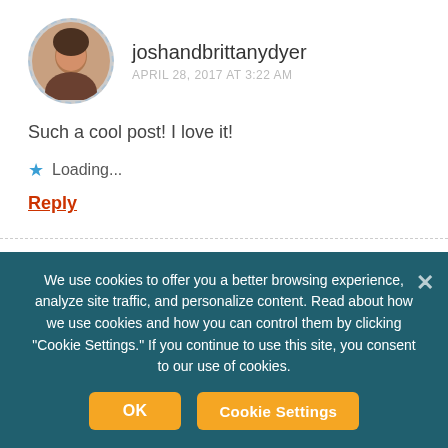joshandbrittanydyer
APRIL 28, 2017 AT 3:22 AM
Such a cool post! I love it!
Loading...
Reply
sadelee
APRIL 28, 2017 AT 4:28 AM
We use cookies to offer you a better browsing experience, analyze site traffic, and personalize content. Read about how we use cookies and how you can control them by clicking "Cookie Settings." If you continue to use this site, you consent to our use of cookies.
OK
Cookie Settings